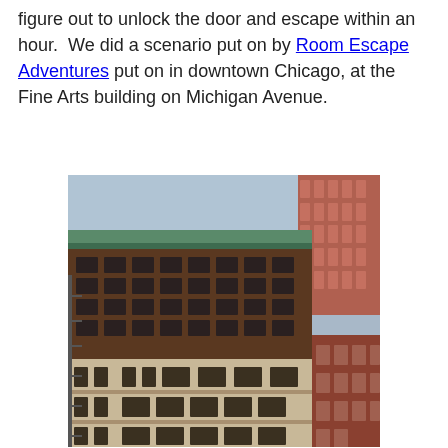figure out to unlock the door and escape within an hour.  We did a scenario put on by Room Escape Adventures put on in downtown Chicago, at the Fine Arts building on Michigan Avenue.
[Figure (photo): Exterior photograph of the Fine Arts Building on Michigan Avenue in downtown Chicago. The building features beige/cream stone lower floors with Romanesque arched windows at street level, upper floors of darker brick with rectangular windows, and a green copper cornice at the top. Neighboring buildings including a red brick structure and modern glass skyscraper are visible.]